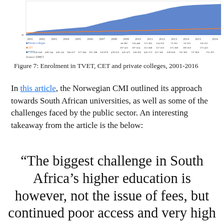[Figure (line-chart): Line chart showing enrolment trends for Private colleges, CET, and TVET from 2001 to 2016. Data table below chart shows values for each year.]
Figure 7: Enrolment in TVET, CET and private colleges, 2001-2016
In this article, the Norwegian CMI outlined its approach towards South African universities, as well as some of the challenges faced by the public sector. An interesting takeaway from the article is the below:
“The biggest challenge in South Africa’s higher education is however, not the issue of fees, but continued poor access and very high dropout rates for those who have entered the system. While